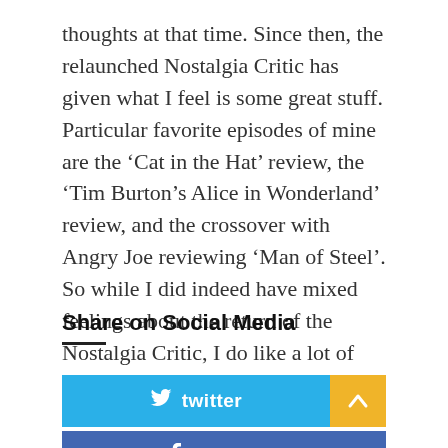thoughts at that time. Since then, the relaunched Nostalgia Critic has given what I feel is some great stuff. Particular favorite episodes of mine are the ‘Cat in the Hat’ review, the ‘Tim Burton’s Alice in Wonderland’ review, and the crossover with Angry Joe reviewing ‘Man of Steel’. So while I did indeed have mixed feelings about the return of the Nostalgia Critic, I do like a lot of the new material.
Share on Social Media
[Figure (other): Twitter share button (blue) with chevron/up arrow button (yellow) to the right]
[Figure (other): Facebook share button (blue/indigo)]